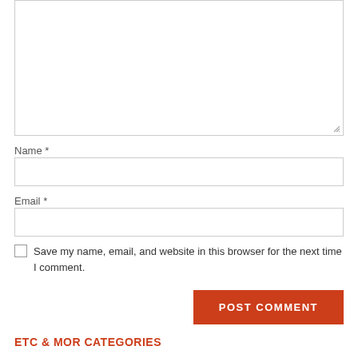[Figure (screenshot): A comment form textarea (empty, with resize handle at bottom-right)]
Name *
[Figure (screenshot): Name text input field (empty)]
Email *
[Figure (screenshot): Email text input field (empty)]
Save my name, email, and website in this browser for the next time I comment.
POST COMMENT
ETC & MOR CATEGORIES